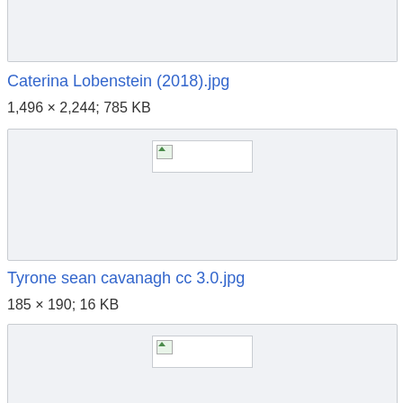[Figure (other): Partial image thumbnail box at top of page (cropped)]
Caterina Lobenstein (2018).jpg
1,496 × 2,244; 785 KB
[Figure (other): Broken image placeholder thumbnail in a light grey box]
Tyrone sean cavanagh cc 3.0.jpg
185 × 190; 16 KB
[Figure (other): Broken image placeholder thumbnail in a light grey box (partially visible at bottom)]